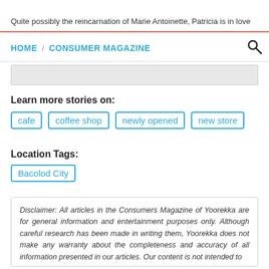Quite possibly the reincarnation of Marie Antoinette, Patricia is in love
HOME / CONSUMER MAGAZINE
Learn more stories on:
cafe
coffee shop
newly opened
new store
Location Tags:
Bacolod City
Disclaimer: All articles in the Consumers Magazine of Yoorekka are for general information and entertainment purposes only. Although careful research has been made in writing them, Yoorekka does not make any warranty about the completeness and accuracy of all information presented in our articles. Our content is not intended to